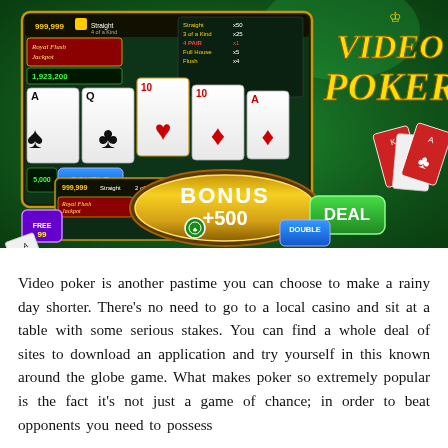[Figure (screenshot): Screenshot of a Video Poker mobile game app showing playing cards (Ace of Spades, Queen of Clubs, 10 of Hearts, 10 of Diamonds, Ace of Diamonds), a golden 'BONUS +500' oval badge with a green poker chip, a green 'DEAL' button, a 'DOUBLE' button, credit display showing 999,999 and Royal Flush Jackpot of 1,923,200, and the stylized yellow 'Video Poker' title logo in the top right corner on a green background.]
Video poker is another pastime you can choose to make a rainy day shorter. There's no need to go to a local casino and sit at a table with some serious stakes. You can find a whole deal of sites to download an application and try yourself in this known around the globe game. What makes poker so extremely popular is the fact it's not just a game of chance; in order to beat opponents you need to possess